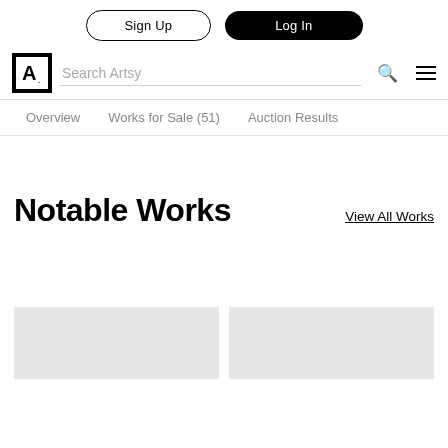Sign Up | Log In
[Figure (logo): Artsy logo — bold letter A with period inside a square border, with a search field labeled 'Search Artsy', a search icon, and a hamburger menu icon]
Overview | Works for Sale (51) | Auction Results
Notable Works
View All Works
[Figure (photo): Two grey placeholder thumbnail images at the bottom of the page]